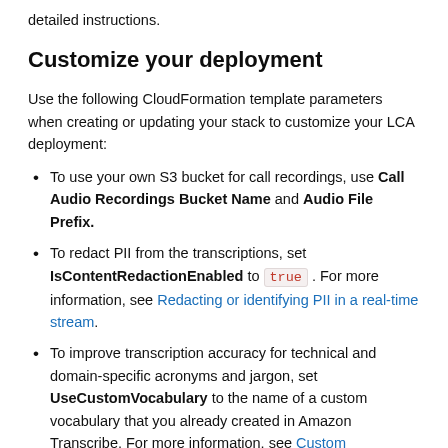detailed instructions.
Customize your deployment
Use the following CloudFormation template parameters when creating or updating your stack to customize your LCA deployment:
To use your own S3 bucket for call recordings, use Call Audio Recordings Bucket Name and Audio File Prefix.
To redact PII from the transcriptions, set IsContentRedactionEnabled to true . For more information, see Redacting or identifying PII in a real-time stream.
To improve transcription accuracy for technical and domain-specific acronyms and jargon, set UseCustomVocabulary to the name of a custom vocabulary that you already created in Amazon Transcribe. For more information, see Custom vocabularies.
To transcribe calls in a supported language other than US